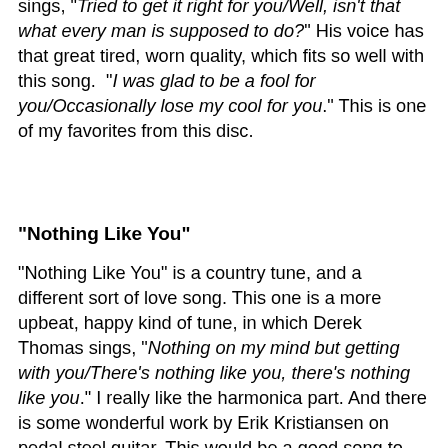sings, "Tried to get it right for you/Well, isn't that what every man is supposed to do?" His voice has that great tired, worn quality, which fits so well with this song. "I was glad to be a fool for you/Occasionally lose my cool for you." This is one of my favorites from this disc.
"Nothing Like You"
"Nothing Like You" is a country tune, and a different sort of love song. This one is a more upbeat, happy kind of tune, in which Derek Thomas sings, "Nothing on my mind but getting with you/There's nothing like you, there's nothing like you." I really like the harmonica part. And there is some wonderful work by Erik Kristiansen on pedal steel guitar. This would be a good song to put on a mix for a road trip with your loved one.
"Rubber Bullets"
"Rubber Bullets" is a wonderful, slow country tune, another one about a relationship. He sings, "And got a ticket on my car/She ripped it up and smiled at me/And said this is how it starts/It starts with a bang/And it ends with a kiss." I love that